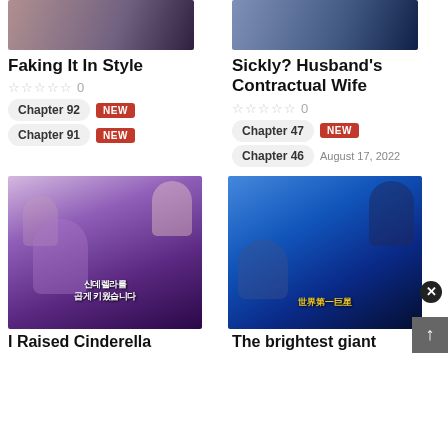[Figure (illustration): Manga comic cover art for Faking It In Style (top left, partially visible)]
Faking It In Style
☆☆☆☆☆ 0
Chapter 92 NEW
Chapter 91 NEW
[Figure (illustration): Manga comic cover art for Sickly? Husband's Contractual Wife (top right, partially visible)]
Sickly? Husband's Contractual Wife
☆☆☆☆☆ 0
Chapter 47 NEW
Chapter 46 August 17, 2022
[Figure (illustration): Manga cover for I Raised Cinderella – anime-style illustration with multiple female characters, purple witch hat, Korean text]
[Figure (illustration): Manga cover for The brightest giant – anime-style illustration with two characters, Chinese golden text]
I Raised Cinderella
The brightest giant